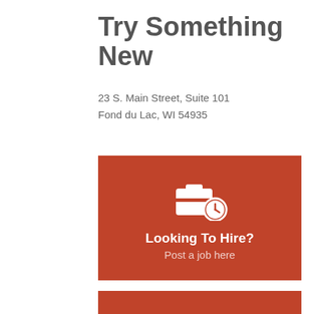Try Something New
23 S. Main Street, Suite 101
Fond du Lac, WI 54935
[Figure (infographic): Red card with briefcase+clock icon, heading 'Looking To Hire?' and subtext 'Post a job here']
[Figure (infographic): Red card with briefcase+clock icon, heading 'Job Searching?' (partially visible)]